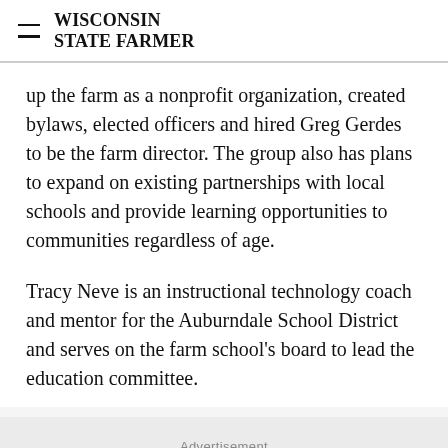WISCONSIN STATE FARMER
up the farm as a nonprofit organization, created bylaws, elected officers and hired Greg Gerdes to be the farm director. The group also has plans to expand on existing partnerships with local schools and provide learning opportunities to communities regardless of age.
Tracy Neve is an instructional technology coach and mentor for the Auburndale School District and serves on the farm school's board to lead the education committee.
Advertisement